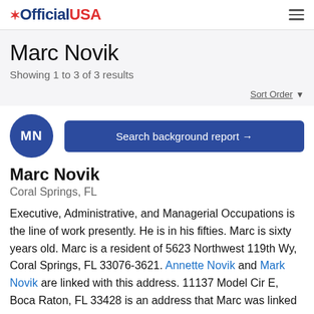OfficialUSA
Marc Novik
Showing 1 to 3 of 3 results
Sort Order
[Figure (other): Dark blue circular avatar with white initials MN]
Search background report →
Marc Novik
Coral Springs, FL
Executive, Administrative, and Managerial Occupations is the line of work presently. He is in his fifties. Marc is sixty years old. Marc is a resident of 5623 Northwest 119th Wy, Coral Springs, FL 33076-3621. Annette Novik and Mark Novik are linked with this address. 11137 Model Cir E, Boca Raton, FL 33428 is an address that Marc was linked